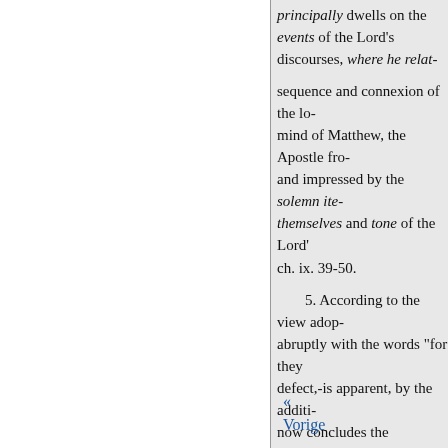principally dwells on the events of the Lord's discourses, where he relates the sequence and connexion of the Lord's mind of Matthew, the Apostle from and impressed by the solemn items themselves and tone of the Lord's ch. ix. 39-50.
5. According to the view adopted abruptly with the words "for they defect,-is apparent, by the addition now concludes the narrative.
6. I regard the existence of the divine Spirit of the records of contains little matter of fact which only a confirmation of their more them which is contained in it, that mind, full of the Holy Ghost, into reverently and affectionately followed the very echo of the tones with which studying this Gospel, as indeed another in value these rich and abundant
« Vorige